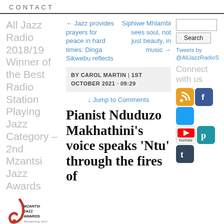CONTACT
All Jazz Radio 2018/19 Winner of the Best Radio Station Playing Jazz Category – 2nd Mzantsi Jazz Awards
← Jazz provides prayers for peace in hard times: Dinga Sikwebu reflects
Siphiwe Mhlambi sees soul, not just beauty, in music →
BY CAROL MARTIN | 1ST OCTOBER 2021 · 09:29
↓ Jump to Comments
Pianist Nduduzo Makhathini's voice speaks 'Ntu' through the fires of
Tweets by @AllJazzRadioS
Connect with us